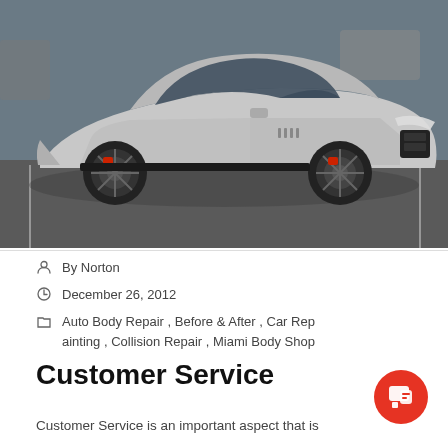[Figure (photo): Silver sports car (Maserati GranTurismo) photographed in a parking lot, side profile view showing black alloy wheels and red brake calipers]
By Norton
December 26, 2012
Auto Body Repair , Before & After , Car Repainting , Collision Repair , Miami Body Shop
Customer Service
Customer Service is an important aspect that is